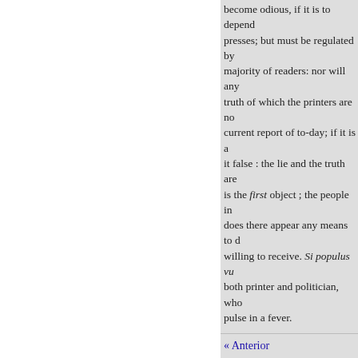become odious, if it is to depend on the presses; but must be regulated by the majority of readers: nor will any truth of which the printers are not current report of to-day; if it is a it false : the lie and the truth are is the first object ; the people in does there appear any means to d willing to receive. Si populus vu both printer and politician, who pulse in a fever.
N. EAST INDIES Art. 19. Me
Hastings, Esq. late Governor Ge
These Memoirs were originally p : when, as is usual in such cales, naturally produced the impresion from an imperfect copy, and wit publisher to give a correct and a confent. Both these editions, to b &c."
« Anterior